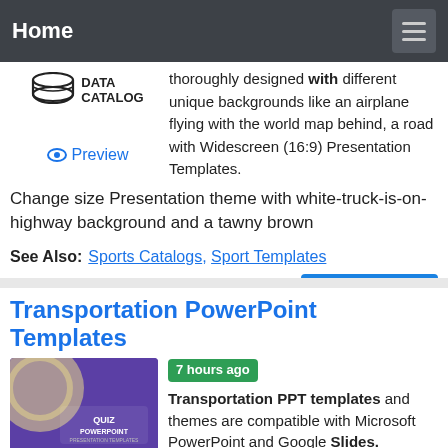Home
[Figure (logo): Data Catalog logo with database icon and text]
Preview
thoroughly designed with different unique backgrounds like an airplane flying with the world map behind, a road with Widescreen (16:9) Presentation Templates. Change size Presentation theme with white-truck-is-on-highway background and a tawny brown
See Also: Sports Catalogs, Sport Templates
Transportation PowerPoint Templates
[Figure (screenshot): Quiz PowerPoint presentation template preview on purple background]
7 hours ago Transportation PPT templates and themes are compatible with Microsoft PowerPoint and Google Slides. Under this category you can find